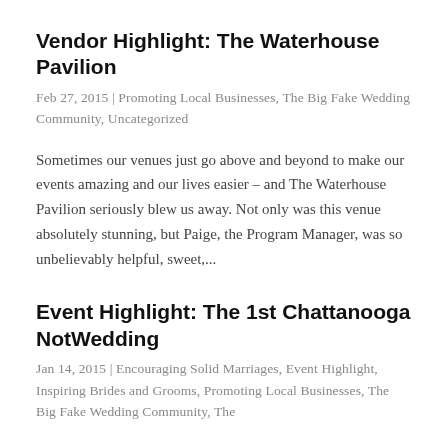Vendor Highlight: The Waterhouse Pavilion
Feb 27, 2015 | Promoting Local Businesses, The Big Fake Wedding Community, Uncategorized
Sometimes our venues just go above and beyond to make our events amazing and our lives easier – and The Waterhouse Pavilion seriously blew us away. Not only was this venue absolutely stunning, but Paige, the Program Manager, was so unbelievably helpful, sweet,...
Event Highlight: The 1st Chattanooga NotWedding
Jan 14, 2015 | Encouraging Solid Marriages, Event Highlight, Inspiring Brides and Grooms, Promoting Local Businesses, The Big Fake Wedding Community, The